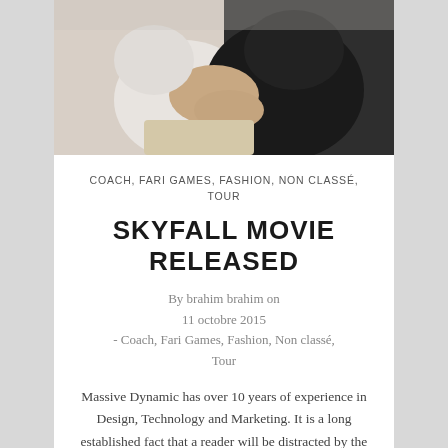[Figure (photo): Close-up photo of two people, one in a white shirt and one in a dark jacket, with hands visible]
COACH, FARI GAMES, FASHION, NON CLASSÉ, TOUR
SKYFALL MOVIE RELEASED
By brahim brahim on 11 octobre 2015 - Coach, Fari Games, Fashion, Non classé, Tour
Massive Dynamic has over 10 years of experience in Design, Technology and Marketing. It is a long established fact that a reader will be distracted by the readable